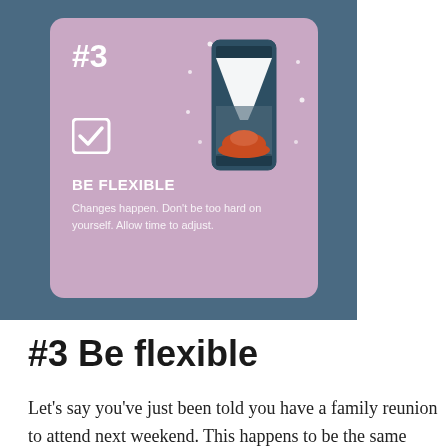[Figure (infographic): Teal/blue background card with a mauve/purple inner card showing '#3' in white bold text, a white checkbox icon, an hourglass illustration with an orange sand bottom, decorative dots around the hourglass, bold white text 'BE FLEXIBLE', and white body text 'Changes happen. Don't be too hard on yourself. Allow time to adjust.']
#3 Be flexible
Let's say you've just been told you have a family reunion to attend next weekend. This happens to be the same weekend you planned to get through all your